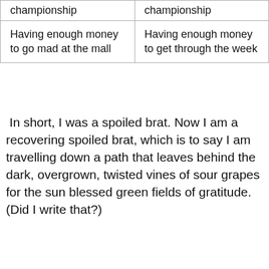| championship | championship |
| Having enough money to go mad at the mall | Having enough money to get through the week |
In short, I was a spoiled brat. Now I am a recovering spoiled brat, which is to say I am travelling down a path that leaves behind the dark, overgrown, twisted vines of sour grapes for the sun blessed green fields of gratitude. (Did I write that?)
As part of my recovery from being a spoiled brat, I've significantly revised my gratitude standards. For example, pretty much everything in the left hand column is now in the right hand column except maybe the...
Privacy & Cookies: This site uses cookies. By continuing to use this website, you agree to their use.
To find out more, including how to control cookies, see here:
Cookie Policy
Close and accept
God bless her. Winning £4 on the lottery is better than a kick in the pants, being at a Barry Manilow concert